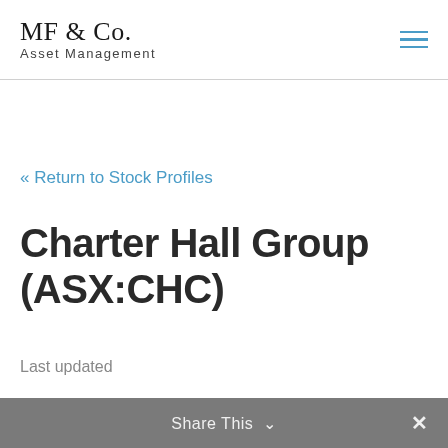MF & Co. Asset Management
« Return to Stock Profiles
Charter Hall Group (ASX:CHC)
Last updated
Share This ∨  ×